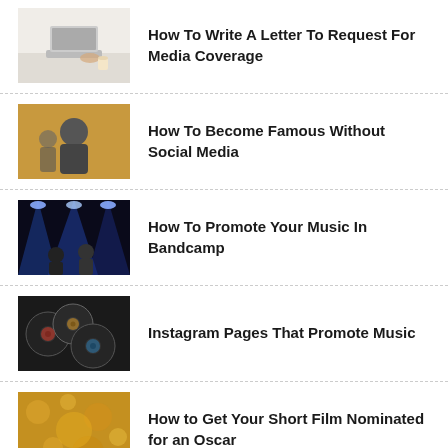How To Write A Letter To Request For Media Coverage
How To Become Famous Without Social Media
How To Promote Your Music In Bandcamp
Instagram Pages That Promote Music
How to Get Your Short Film Nominated for an Oscar